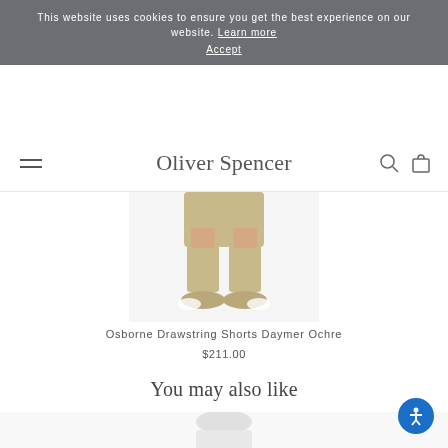This website uses cookies to ensure you get the best experience on our website. Learn more Accept
Oliver Spencer
[Figure (photo): Lower half of a person wearing khaki/tan shorts and beige canvas sneakers, standing on white background — product photo for Osborne Drawstring Shorts Daymer Ochre]
Osborne Drawstring Shorts Daymer Ochre
$211.00
You may also like
[Figure (photo): Partial product photo at bottom of page — appears to show a model wearing a light-colored garment, image cut off]